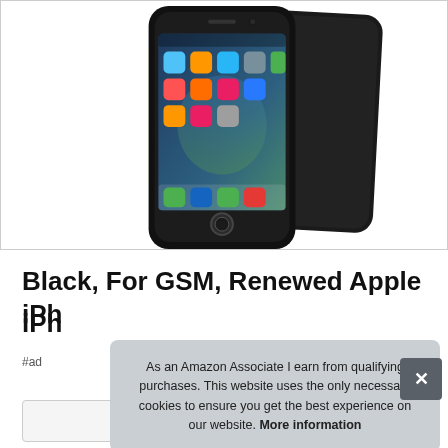[Figure (photo): Product photo of a black Apple iPhone 7 with its back case, showing the home screen with app icons on a dark background, displayed at an angle.]
Black, For GSM, Renewed Apple iPhone 7, 32GB
#ad
As an Amazon Associate I earn from qualifying purchases. This website uses the only necessary cookies to ensure you get the best experience on our website. More information